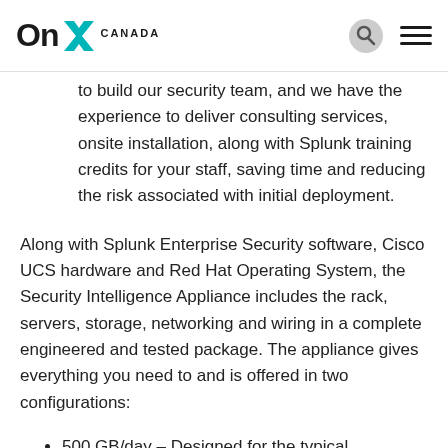OnX Canada
to build our security team, and we have the experience to deliver consulting services, onsite installation, along with Splunk training credits for your staff, saving time and reducing the risk associated with initial deployment.
Along with Splunk Enterprise Security software, Cisco UCS hardware and Red Hat Operating System, the Security Intelligence Appliance includes the rack, servers, storage, networking and wiring in a complete engineered and tested package. The appliance gives everything you need to and is offered in two configurations:
500 GB/day – Designed for the typical Enterprise Security deployment
15 TB/day – Designed for larger environments